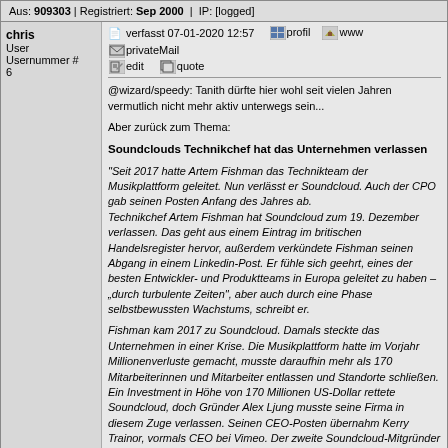Aus: 909303 | Registriert: Sep 2000 | IP: [logged]
chris
User
Usernummer # 6
verfasst 07-01-2020 12:57  profil  www  privateMail  edit  quote
@wizard/speedy: Tanith dürfte hier wohl seit vielen Jahren vermutlich nicht mehr aktiv unterwegs sein...

Aber zurück zum Thema:

Soundclouds Technikchef hat das Unternehmen verlassen
"Seit 2017 hatte Artem Fishman das Technikteam der Musikplattform geleitet. Nun verlässt er Soundcloud. Auch der CPO gab seinen Posten Anfang des Jahres ab.
Technikchef Artem Fishman hat Soundcloud zum 19. Dezember verlassen. Das geht aus einem Eintrag im britischen Handelsregister hervor, außerdem verkündete Fishman seinen Abgang in einem Linkedin-Post. Er fühle sich geehrt, eines der besten Entwickler- und Produktteams in Europa geleitet zu haben – „durch turbulente Zeiten", aber auch durch eine Phase selbstbewussten Wachstums, schreibt er.

Fishman kam 2017 zu Soundcloud. Damals steckte das Unternehmen in einer Krise. Die Musikplattform hatte im Vorjahr Millionenverluste gemacht, musste daraufhin mehr als 170 Mitarbeiterinnen und Mitarbeiter entlassen und Standorte schließen. Ein Investment in Höhe von 170 Millionen US-Dollar rettete Soundcloud, doch Gründer Alex Ljung musste seine Firma in diesem Zuge verlassen. Seinen CEO-Posten übernahm Kerry Trainor, vormals CEO bei Vimeo. Der zweite Soundcloud-Mitgründer und damalige CTO Eric Wahlforss wechselte an die Spitze des Produktteams – an seiner Stelle wurde Artem Fishman Technikchef. Fishman hatte vorher unter anderem als Leiter des Entwicklerteams bei Yahoo gearbeitet.

Anfang 2019 verließ dann auch Wahlforss seinen CPO-Posten. (...)"
Quelle https://www.gruenderszene.de/business/soundcloud-cto-geht
Aus: Westend | Registriert: Nov 1999 | IP: [logged]